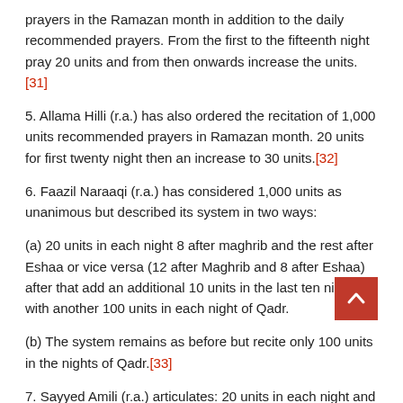prayers in the Ramazan month in addition to the daily recommended prayers. From the first to the fifteenth night pray 20 units and from then onwards increase the units.[31]
5. Allama Hilli (r.a.) has also ordered the recitation of 1,000 units recommended prayers in Ramazan month. 20 units for first twenty night then an increase to 30 units.[32]
6. Faazil Naraaqi (r.a.) has considered 1,000 units as unanimous but described its system in two ways:
(a) 20 units in each night 8 after maghrib and the rest after Eshaa or vice versa (12 after Maghrib and 8 after Eshaa) after that add an additional 10 units in the last ten nights with another 100 units in each night of Qadr.
(b) The system remains as before but recite only 100 units in the nights of Qadr.[33]
7. Sayyed Amili (r.a.) articulates: 20 units in each night and there is consensus on this point. As is mentioned in the books